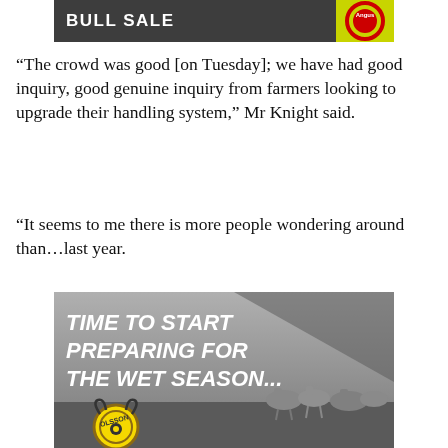[Figure (other): Dark banner with 'BULL SALE' text in white on grey background, with Angus logo badge on right]
“The crowd was good [on Tuesday]; we have had good inquiry, good genuine inquiry from farmers looking to upgrade their handling system,” Mr Knight said.
“It seems to me there is more people wondering around than…last year.
[Figure (photo): Advertisement image with black and white photo of cattle in a dry landscape. Text reads 'TIME TO START PREPARING FOR THE WET SEASON...' in bold italic white. Olsson's brand logo appears at bottom left.]